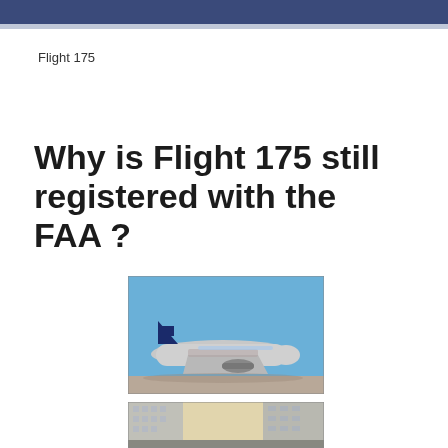Flight 175
Why is Flight 175 still registered with the FAA ?
[Figure (photo): United Airlines Boeing 767 aircraft on tarmac, side view against blue sky]
[Figure (photo): City buildings/skyscrapers viewed from street level, partially visible]